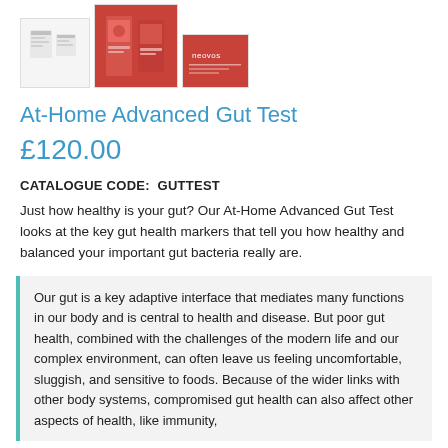[Figure (photo): Three product thumbnail images: a white document/label image on left, a red product box in the center (larger), and a red Neovos branded box on the right.]
At-Home Advanced Gut Test
£120.00
CATALOGUE CODE:  GUTTEST
Just how healthy is your gut? Our At-Home Advanced Gut Test looks at the key gut health markers that tell you how healthy and balanced your important gut bacteria really are.
Our gut is a key adaptive interface that mediates many functions in our body and is central to health and disease. But poor gut health, combined with the challenges of the modern life and our complex environment, can often leave us feeling uncomfortable, sluggish, and sensitive to foods. Because of the wider links with other body systems, compromised gut health can also affect other aspects of health, like immunity,